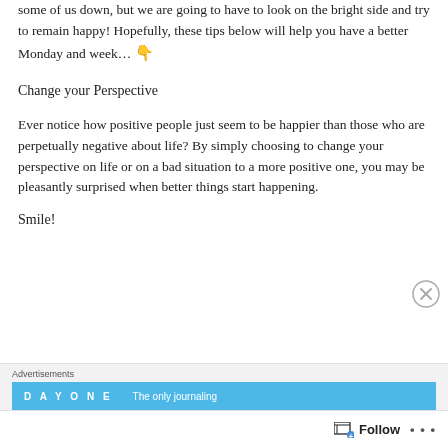Happy Monday again! Under quarantine can really knock and had got some of us down, but we are going to have to look on the bright side and try to remain happy! Hopefully, these tips below will help you have a better Monday and week... 👇
Change your Perspective
Ever notice how positive people just seem to be happier than those who are perpetually negative about life? By simply choosing to change your perspective on life or on a bad situation to a more positive one, you may be pleasantly surprised when better things start happening.
Smile!
[Figure (other): Close (X) button circle icon]
Advertisements
[Figure (other): DAY ONE app advertisement banner in blue with text 'The only journaling']
Follow ...